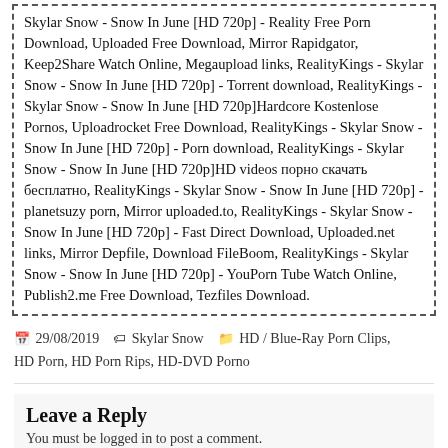Skylar Snow - Snow In June [HD 720p] - Reality Free Porn Download, Uploaded Free Download, Mirror Rapidgator, Keep2Share Watch Online, Megaupload links, RealityKings - Skylar Snow - Snow In June [HD 720p] - Torrent download, RealityKings - Skylar Snow - Snow In June [HD 720p]Hardcore Kostenlose Pornos, Uploadrocket Free Download, RealityKings - Skylar Snow - Snow In June [HD 720p] - Porn download, RealityKings - Skylar Snow - Snow In June [HD 720p]HD videos порно скачать бесплатно, RealityKings - Skylar Snow - Snow In June [HD 720p] - planetsuzy porn, Mirror uploaded.to, RealityKings - Skylar Snow - Snow In June [HD 720p] - Fast Direct Download, Uploaded.net links, Mirror Depfile, Download FileBoom, RealityKings - Skylar Snow - Snow In June [HD 720p] - YouPorn Tube Watch Online, Publish2.me Free Download, Tezfiles Download.
29/08/2019   Skylar Snow   HD / Blue-Ray Porn Clips, HD Porn, HD Porn Rips, HD-DVD Porno
Leave a Reply
You must be logged in to post a comment.